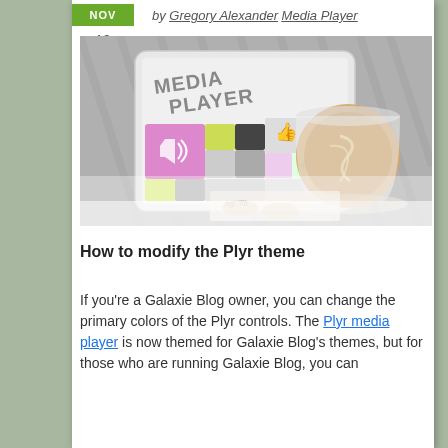NOV
19
by Gregory Alexander Media Player
[Figure (photo): A tablet displaying a 'MEDIA PLAYER' app interface with colorful tiles including a speaker icon, thumbs up, and media controls, alongside a cup of latte coffee on a wooden table.]
How to modify the Plyr theme
If you're a Galaxie Blog owner, you can change the primary colors of the Plyr controls. The Plyr media player is now themed for Galaxie Blog's themes, but for those who are running Galaxie Blog, you can